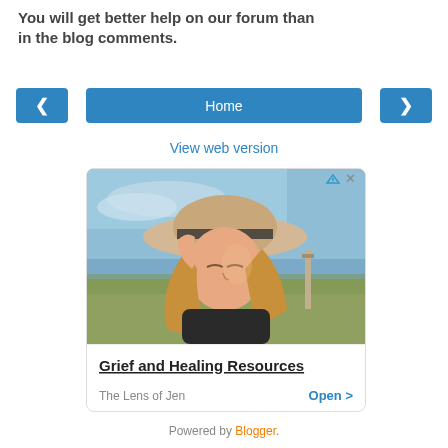You will get better help on our forum than in the blog comments.
[Figure (screenshot): Navigation bar with left arrow button, Home button (blue), and right arrow button]
View web version
[Figure (photo): Advertisement showing a woman with a wide-brim hat tilting her head back with eyes closed. Below the image: 'Grief and Healing Resources' in bold underlined text, 'The Lens of Jen' and 'Open >' in blue. Ad icon in top right corner.]
Powered by Blogger.